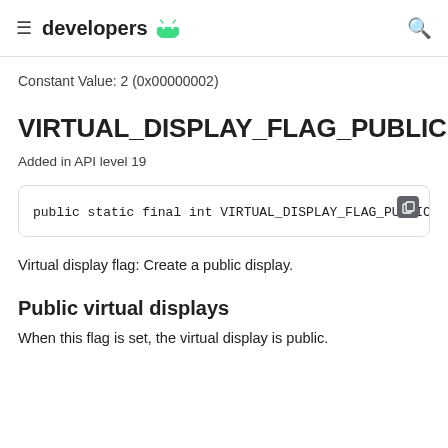developers
Constant Value: 2 (0x00000002)
VIRTUAL_DISPLAY_FLAG_PUBLIC
Added in API level 19
public static final int VIRTUAL_DISPLAY_FLAG_PUBLIC
Virtual display flag: Create a public display.
Public virtual displays
When this flag is set, the virtual display is public.